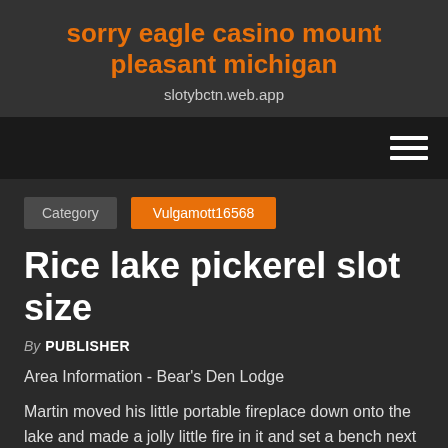sorry eagle casino mount pleasant michigan
slotybctn.web.app
Rice lake pickerel slot size
By PUBLISHER
Area Information - Bear's Den Lodge
Martin moved his little portable fireplace down onto the lake and made a jolly little fire in it and set a bench next to it. Home | macomb pottery company | the nite feed Visit the